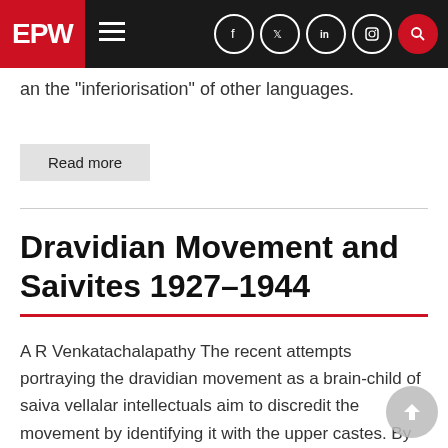EPW
an the "inferiorisation" of other languages.
Read more
Dravidian Movement and Saivites 1927-1944
A R Venkatachalapathy The recent attempts portraying the dravidian movement as a brain-child of saiva vellalar intellectuals aim to discredit the movement by identifying it with the upper castes. By juxtaposing the sectarian interpretation of anti-brahminism of the saivites with the